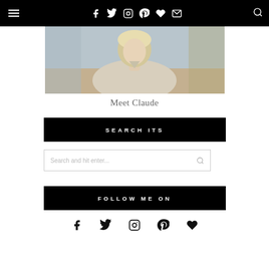Navigation bar with hamburger menu and social icons: Facebook, Twitter, Instagram, Pinterest, Heart, Mail, Search
[Figure (photo): Portrait photo of a blonde woman in a light beige top, outdoors with blurred background]
Meet Claude
SEARCH ITS
Search and hit enter...
FOLLOW ME ON
Social icons: Facebook, Twitter, Instagram, Pinterest, Heart